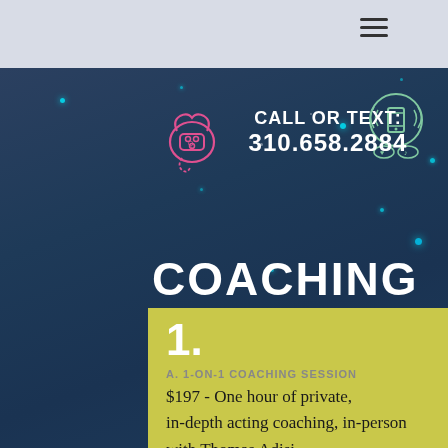≡
CALL OR TEXT: 310.658.2884
COACHING
1.
A. 1-ON-1 COACHING SESSION
$197 - One hour of private, in-depth acting coaching, in-person with Thomas Adisi